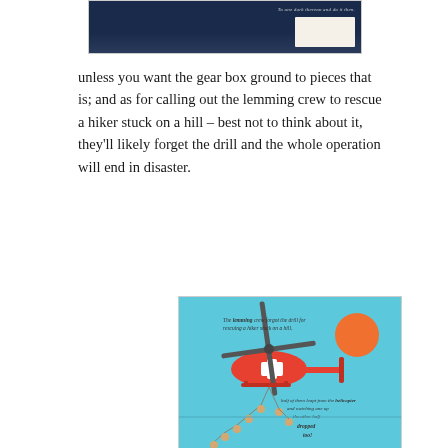[Figure (illustration): Top portion of an illustrated book page showing a dark blue background with a white open book and small italic text on the right side.]
unless you want the gear box ground to pieces that is; and as for calling out the lemming crew to rescue a hiker stuck on a hill – best not to think about it, they'll likely forget the drill and the whole operation will end in disaster.
[Figure (illustration): Illustrated book page showing a red rescue helicopter with a white cross on a light blue background with an orange sun. Lemmings are shown dangling on a rope below the helicopter. Text reads 'The lemming crew forgot the drill for rescuing a hiker stuck on a hill.' and 'half of them leapt from the helicopter and watching one up the other half dropped too!']